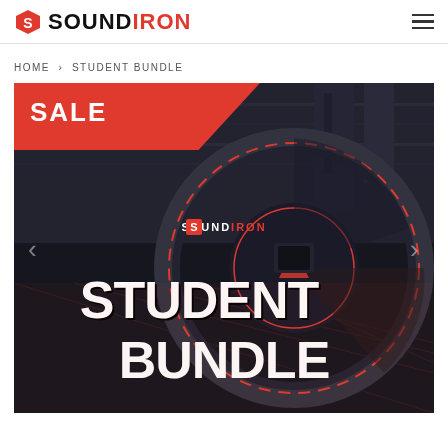SOUNDIRON
HOME › STUDENT BUNDLE
[Figure (photo): Product page image for Soundiron Student Bundle showing a sci-fi mechanical background with a large circular dial/wheel element, the Soundiron logo, a red SALE banner in the top left corner, and large white bold text reading STUDENT BUNDLE in the lower portion of the image. Navigation arrows on the left and right sides.]